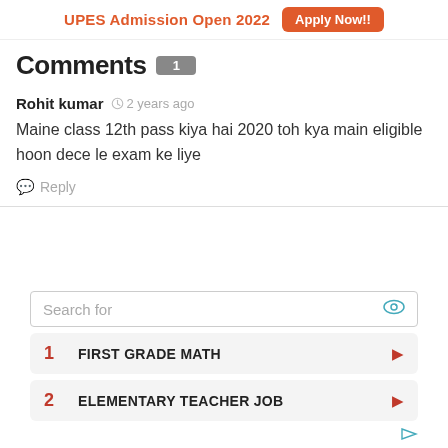UPES Admission Open 2022   Apply Now!!
Comments 1
Rohit kumar  2 years ago
Maine class 12th pass kiya hai 2020 toh kya main eligible hoon dece le exam ke liye
Reply
[Figure (infographic): Advertisement widget with search bar, two list items: 1. FIRST GRADE MATH, 2. ELEMENTARY TEACHER JOB, with an eye icon and arrows.]